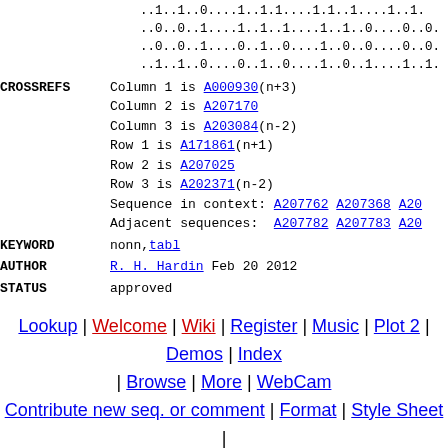..1..1..0....1..1.1....1.1..1....1..1
..0..0..1....1..1..1....1..1..0....0..0.
..0..0..1....0..1..0....1..0..0....0..0.
..1..1..0....0..1..0....1..0..1....1..1.
CROSSREFS Column 1 is A000930(n+3)
Column 2 is A207170
Column 3 is A203084(n-2)
Row 1 is A171861(n+1)
Row 2 is A207025
Row 3 is A202371(n-2)
Sequence in context: A207762 A207368 A20...
Adjacent sequences: A207782 A207783 A20...
KEYWORD nonn, tabl
AUTHOR R. H. Hardin Feb 20 2012
STATUS approved
Lookup | Welcome | Wiki | Register | Music | Plot 2 | Demos | Index | Browse | More | WebCam
Contribute new seq. or comment | Format | Style Sheet | Transforms | Superseeker | Recents
The OEIS Community | Maintained by The OEIS Foundation Inc.
License Agreements, Terms of Use, Privacy Policy.
Last modified August 28 06:13 EDT 2022. Contains 356417 sequences. (Running on oeis4.)